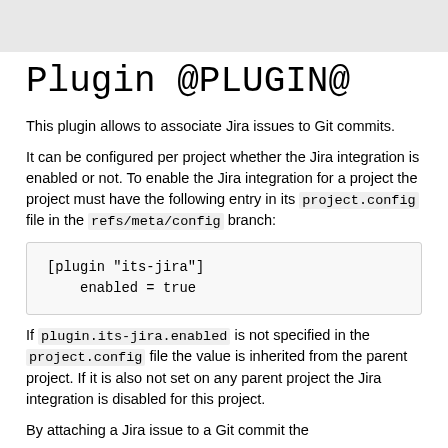Plugin @PLUGIN@
This plugin allows to associate Jira issues to Git commits.
It can be configured per project whether the Jira integration is enabled or not. To enable the Jira integration for a project the project must have the following entry in its project.config file in the refs/meta/config branch:
[plugin "its-jira"]
    enabled = true
If plugin.its-jira.enabled is not specified in the project.config file the value is inherited from the parent project. If it is also not set on any parent project the Jira integration is disabled for this project.
By attaching a Jira issue to a Git commit the...